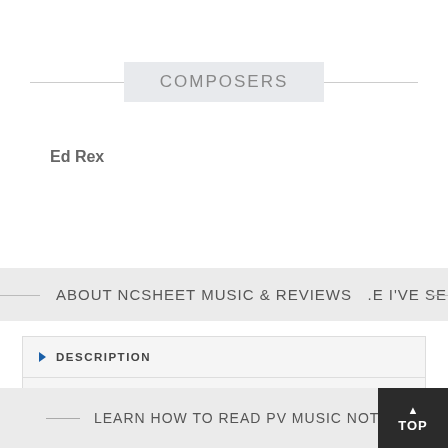COMPOSERS
Ed Rex
ABOUT NCSHEET MUSIC & REVIEWS   .E I'VE SEEN
DESCRIPTION
ADDITIONAL INFORMATION
REVIEWS
LEARN HOW TO READ PV MUSIC NOTES